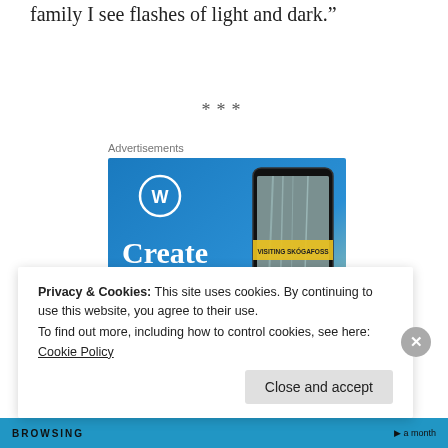family I see flashes of light and dark.”
***
Advertisements
[Figure (photo): WordPress advertisement showing 'Create immersive stories.' text with WordPress logo and a smartphone displaying 'VISITING SKÓGAFOSS' with a waterfall scene]
Privacy & Cookies: This site uses cookies. By continuing to use this website, you agree to their use.
To find out more, including how to control cookies, see here: Cookie Policy
Close and accept
BROWSING